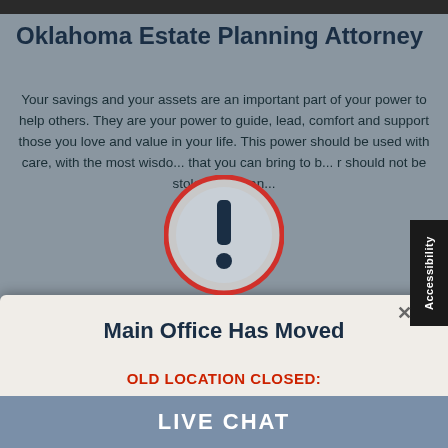Oklahoma Estate Planning Attorney
Your savings and your assets are an important part of your power to help others. They are your power to guide, lead, comfort and support those you love and value in your life. This power should be used with care, with the most wisdom that you can bring to bear, should not be stolen, stealthily, or...
[Figure (illustration): Warning/alert icon: a dark circle with a red ring border and an exclamation mark inside, overlaid on the page content]
Main Office Has Moved
OLD LOCATION CLOSED:
LIVE CHAT